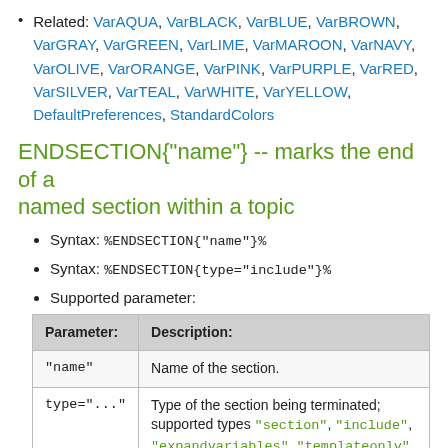Related: VarAQUA, VarBLACK, VarBLUE, VarBROWN, VarGRAY, VarGREEN, VarLIME, VarMAROON, VarNAVY, VarOLIVE, VarORANGE, VarPINK, VarPURPLE, VarRED, VarSILVER, VarTEAL, VarWHITE, VarYELLOW, DefaultPreferences, StandardColors
ENDSECTION{"name"} -- marks the end of a named section within a topic
Syntax: %ENDSECTION{"name"}%
Syntax: %ENDSECTION{type="include"}%
Supported parameter:
| Parameter: | Description: |
| --- | --- |
| "name" | Name of the section. |
| type="..." | Type of the section being terminated; supported types "section", "include", "expandvariables", "templateonly". |
If the STARTSECTION is named, the corresponding